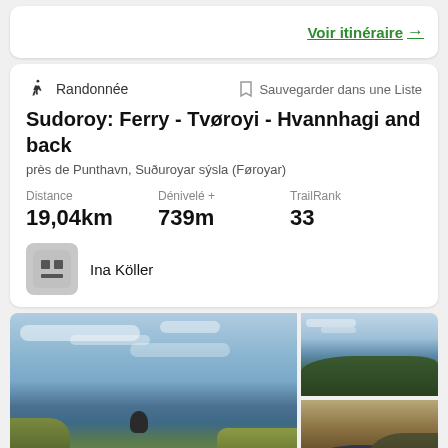Voir itinéraire →
Randonnée
Sauvegarder dans une Liste
Sudoroy: Ferry - Tvøroyi - Hvannhagi and back
près de Punthavn, Suðuroyar sýsla (Føroyar)
Distance 19,04km
Dénivelé + 739m
TrailRank 33
Ina Köller
[Figure (photo): Landscape photo of Faroe Islands coastal scenery with ocean, cliffs, and a small rocky islet]
[Figure (photo): Aerial view of Faroe Islands coastline with green hills and sea]
[Figure (photo): Panoramic view of a lake/lagoon in Faroe Islands surrounded by dark hills]